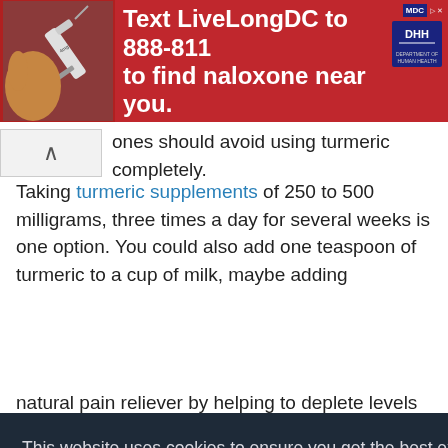[Figure (infographic): Red advertisement banner: 'Text LiveLongDC to 888-811 to find naloxone near you.' with syringe image on left and DC/DHS logos on right.]
ones should avoid using turmeric completely.
Taking turmeric supplements of 250 to 500 milligrams, three times a day for several weeks is one option. You could also add one teaspoon of turmeric to a cup of milk, maybe adding
This website uses cookies to ensure you get the best experience on our website and for advertising purposes. By continuing to use (click or scroll) this site you consent to their use as described in our Privacy Policy
natural pain reliever by helping to deplete levels of the